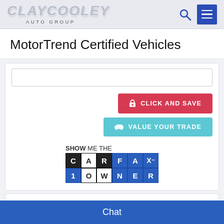[Figure (logo): Clay Cooley Auto Group logo with stylized silver text and tagline]
MotorTrend Certified Vehicles
[Figure (screenshot): CLICK AND SAVE button (red) and VALUE YOUR TRADE button (cyan)]
[Figure (logo): Show Me The CARFAX 1 Owner badge]
Used 2015 Dodge
Journey Crossroad
Chat